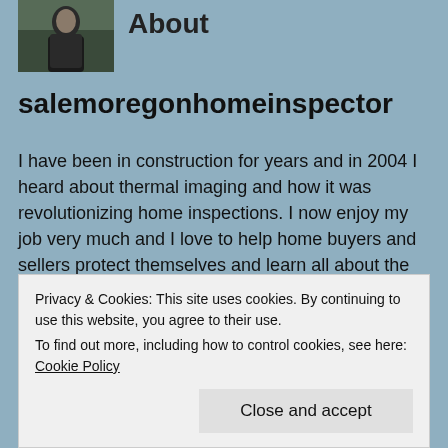[Figure (photo): Small profile photo of a person outdoors, dark jacket, trees in background]
About
salemoregonhomeinspector
I have been in construction for years and in 2004 I heard about thermal imaging and how it was revolutionizing home inspections. I now enjoy my job very much and I love to help home buyers and sellers protect themselves and learn all about the home that they are buying or selling. I live and work around Salem, Oregon and I am doing my best to be an
Privacy & Cookies: This site uses cookies. By continuing to use this website, you agree to their use.
To find out more, including how to control cookies, see here: Cookie Policy
Close and accept